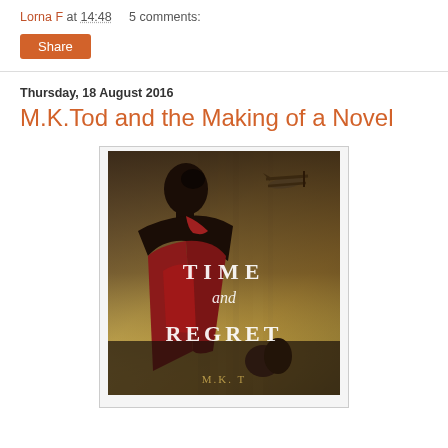Lorna F at 14:48    5 comments:
Share
Thursday, 18 August 2016
M.K.Tod and the Making of a Novel
[Figure (photo): Book cover of 'Time and Regret' by M.K. Tod, showing a woman in a red dress viewed from behind, with a biplane in the upper right corner and yellowed/aged background]